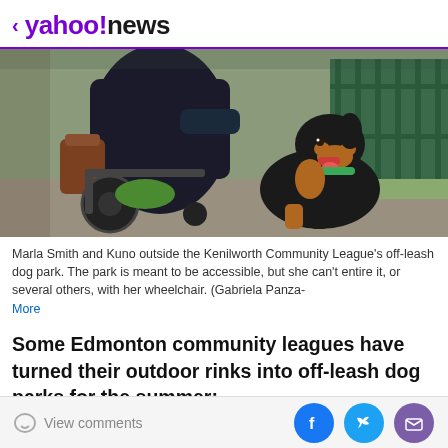< yahoo!news
[Figure (photo): Marla Smith in a power wheelchair with her black and tan Rottweiler dog Kuno sitting beside her outside a fence at the Kenilworth Community League's off-leash dog park.]
Marla Smith and Kuno outside the Kenilworth Community League's off-leash dog park. The park is meant to be accessible, but she can't entire it, or several others, with her wheelchair. (Gabriela Panza- More
Some Edmonton community leagues have turned their outdoor rinks into off-leash dog parks for the summer;
View comments